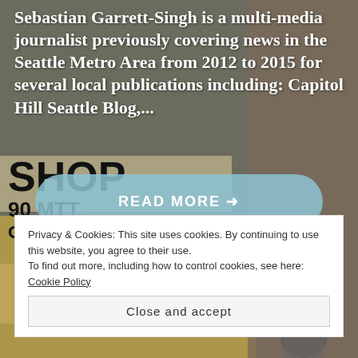[Figure (photo): Background photo of an Indian street shop with painted signs reading 'SHOP', '90 MTT.', 'GOVT. APR.' and a person visible on the right side]
Sebastian Garrett-Singh is a multi-media journalist previously covering news in the Seattle Metro Area from 2012 to 2015 for several local publications including: Capitol Hill Seattle Blog,...
READ MORE →
Privacy & Cookies: This site uses cookies. By continuing to use this website, you agree to their use.
To find out more, including how to control cookies, see here: Cookie Policy
Close and accept